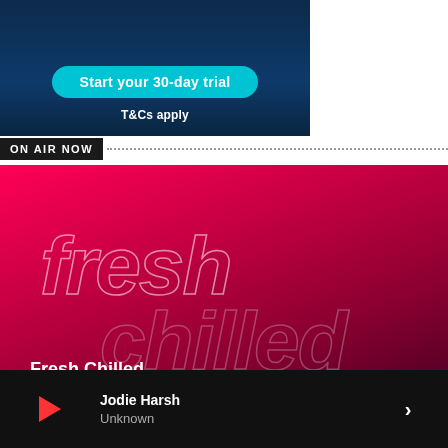[Figure (screenshot): Advertisement banner with dark navy blue background showing a 'Start your 30-day trial' button in teal/cyan color and 'T&Cs apply' text below]
ON AIR NOW
[Figure (screenshot): Fresh Chilled radio show card with hot pink/magenta gradient background, showing 'fresh' and 'chilled' text in large outline style, show name 'Fresh Chilled' and time '06:00 - 10:00']
Fresh Chilled
06:00 - 10:00
Jodie Harsh
Unknown